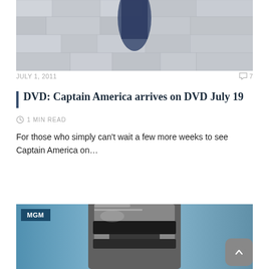[Figure (photo): Partial photo showing stone wall background with dark figure/shadow, cropped at top]
JULY 1, 2011
7 (comments)
DVD: Captain America arrives on DVD July 19
1 MIN READ
For those who simply can't wait a few more weeks to see Captain America on...
READ MORE
[Figure (photo): Close-up photo of RoboCop helmet/visor in metallic silver, with MGM label badge in upper left corner]